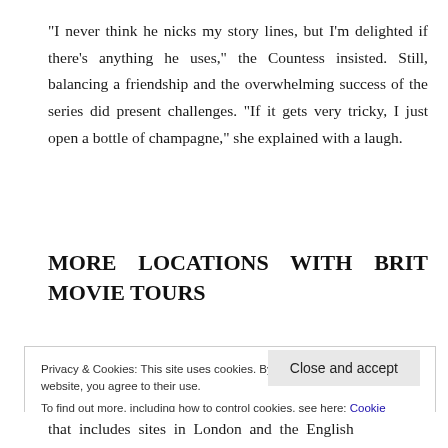“I never think he nicks my story lines, but I’m delighted if there’s anything he uses,” the Countess insisted. Still, balancing a friendship and the overwhelming success of the series did present challenges. “If it gets very tricky, I just open a bottle of champagne,” she explained with a laugh.
MORE LOCATIONS WITH BRIT MOVIE TOURS
Privacy & Cookies: This site uses cookies. By continuing to use this website, you agree to their use.
To find out more, including how to control cookies, see here: Cookie Policy
Close and accept
that includes sites in London and the English